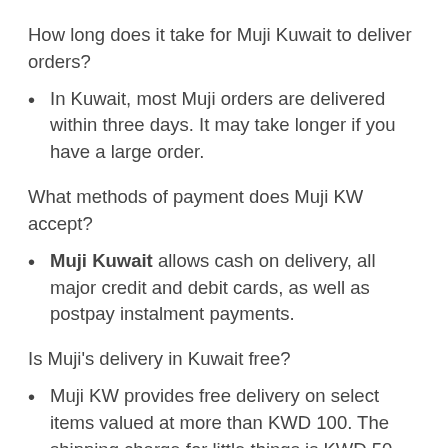How long does it take for Muji Kuwait to deliver orders?
In Kuwait, most Muji orders are delivered within three days. It may take longer if you have a large order.
What methods of payment does Muji KW accept?
Muji Kuwait allows cash on delivery, all major credit and debit cards, as well as postpay instalment payments.
Is Muji's delivery in Kuwait free?
Muji KW provides free delivery on select items valued at more than KWD 100. The shipping charge for little things is KWD 50, while it is KWD 100 for larger items.